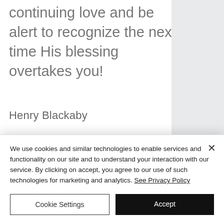continuing love and be alert to recognize the next time His blessing overtakes you!
Henry Blackaby
[Figure (other): Share buttons: Facebook, Twitter, LinkedIn, link icons in circles]
2 views, 0 comments, Post not marked as liked
We use cookies and similar technologies to enable services and functionality on our site and to understand your interaction with our service. By clicking on accept, you agree to our use of such technologies for marketing and analytics. See Privacy Policy
Cookie Settings
Accept